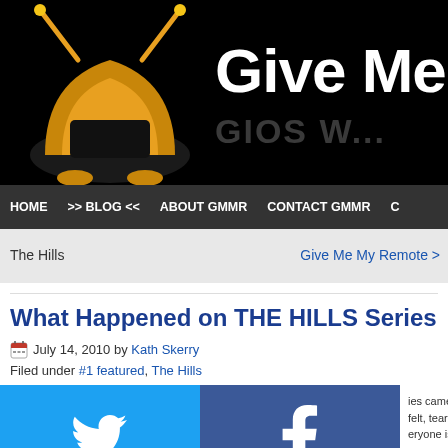[Figure (screenshot): Website header banner with golden TV antenna logo and 'Give Me' text on black background]
HOME  >> BLOG <<  ABOUT GMMR  CONTACT GMMR  C
The Hills
Give Me My Remote >
What Happened on THE HILLS Series Fin...
July 14, 2010 by Kath Skerry
Filed under #1 featured, The Hills
[Figure (screenshot): Social share buttons overlay grid: Twitter (blue), Facebook (dark blue), email snippet text, Email (gray), WhatsApp (green), content snippet, SMS (blue), share icon button, share icon button (green)]